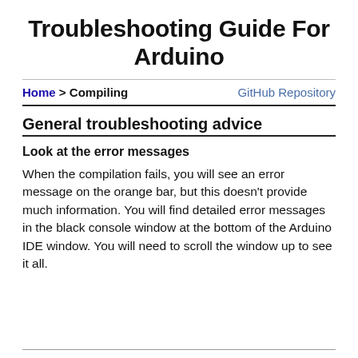Troubleshooting Guide For Arduino
Home > Compiling    GitHub Repository
General troubleshooting advice
Look at the error messages
When the compilation fails, you will see an error message on the orange bar, but this doesn't provide much information. You will find detailed error messages in the black console window at the bottom of the Arduino IDE window. You will need to scroll the window up to see it all.